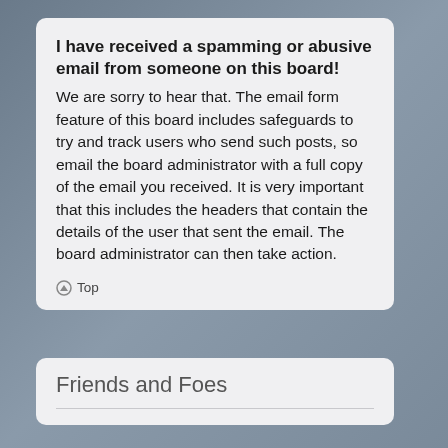I have received a spamming or abusive email from someone on this board!
We are sorry to hear that. The email form feature of this board includes safeguards to try and track users who send such posts, so email the board administrator with a full copy of the email you received. It is very important that this includes the headers that contain the details of the user that sent the email. The board administrator can then take action.
Top
Friends and Foes